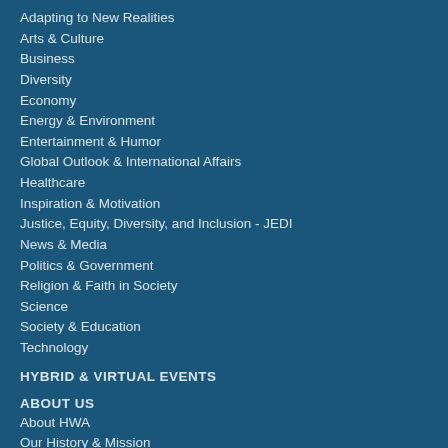Adapting to New Realities
Arts & Culture
Business
Diversity
Economy
Energy & Environment
Entertainment & Humor
Global Outlook & International Affairs
Healthcare
Inspiration & Motivation
Justice, Equity, Diversity, and Inclusion - JEDI
News & Media
Politics & Government
Religion & Faith in Society
Science
Society & Education
Technology
HYBRID & VIRTUAL EVENTS
ABOUT US
About HWA
Our History & Mission